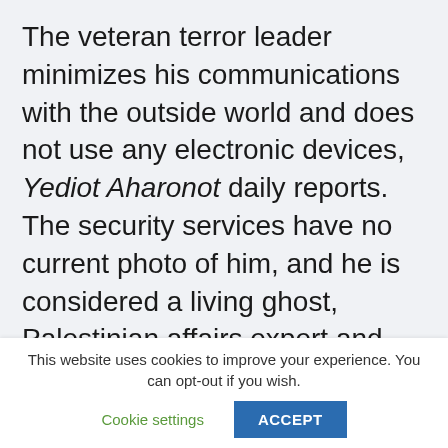The veteran terror leader minimizes his communications with the outside world and does not use any electronic devices, Yediot Aharonot daily reports. The security services have no current photo of him, and he is considered a living ghost, Palestinian affairs expert and ex-intelligence officer Michael Milshtein told the newspaper.

A former high-ranking Palestinian official told
This website uses cookies to improve your experience. You can opt-out if you wish. Cookie settings ACCEPT